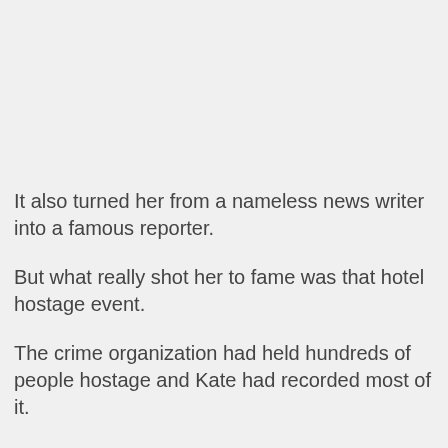It also turned her from a nameless news writer into a famous reporter.
But what really shot her to fame was that hotel hostage event.
The crime organization had held hundreds of people hostage and Kate had recorded most of it.
This also won her the honor of Newsman of the Year.